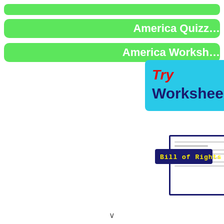America Quizz...
America Worksh...
[Figure (infographic): Cyan/turquoise box with 'Try Workshee...' text in red italic and dark navy bold, alongside a Bill of Rights worksheet thumbnail preview]
v